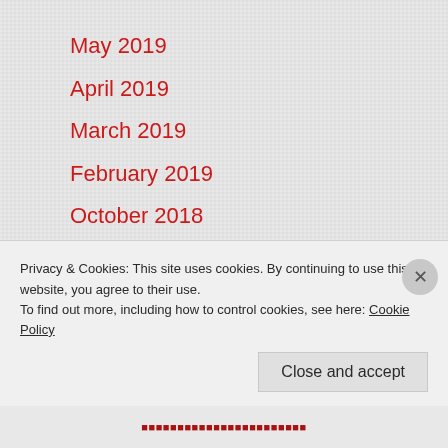May 2019
April 2019
March 2019
February 2019
October 2018
August 2018
May 2018
April 2018
March 2018
Privacy & Cookies: This site uses cookies. By continuing to use this website, you agree to their use.
To find out more, including how to control cookies, see here: Cookie Policy
Close and accept